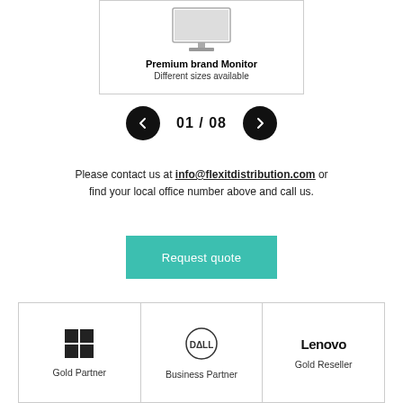[Figure (illustration): Product card showing a monitor with text 'Premium brand Monitor' and 'Different sizes available']
Premium brand Monitor
Different sizes available
01 / 08
Please contact us at info@flexitdistribution.com or find your local office number above and call us.
Request quote
[Figure (logo): Windows logo - Gold Partner]
Gold Partner
[Figure (logo): Dell logo - Business Partner]
Business Partner
[Figure (logo): Lenovo logo - Gold Reseller]
Gold Reseller